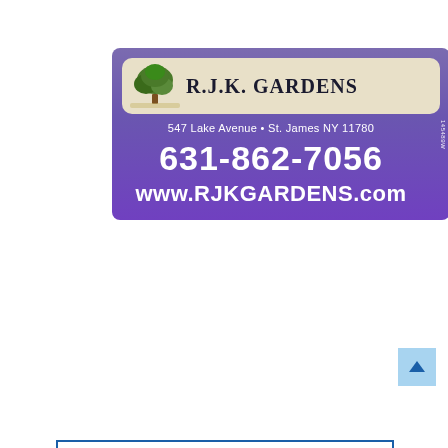[Figure (advertisement): R.J.K. Gardens advertisement. Purple/blue gradient background. Top banner with tree logo and 'R.J.K. GARDENS' text. Address: 547 Lake Avenue • St. James NY 11780. Phone: 631-862-7056. Website: www.RJKGARDENS.com. Code: 145489W]
[Figure (advertisement): South Shore University Hospital Northwell Health advertisement. White background with blue border. Colorful chevron/arrow logo. Text: 'South Shore University Hospital Northwell Health®'. Contact: 631-968-3000 • Northwell.edu/Transformation. Code: ©145411]